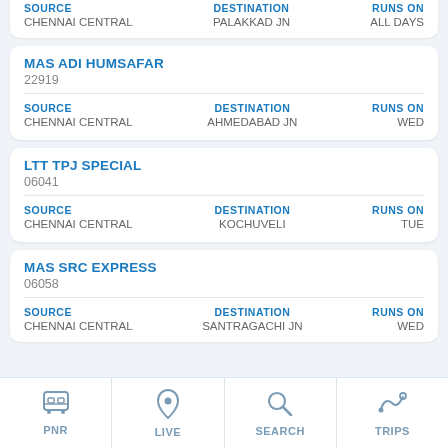SOURCE: CHENNAI CENTRAL | DESTINATION: PALAKKAD JN | RUNS ON: ALL DAYS
MAS ADI HUMSAFAR
22919
SOURCE: CHENNAI CENTRAL | DESTINATION: AHMEDABAD JN | RUNS ON: WED
LTT TPJ SPECIAL
06041
SOURCE: CHENNAI CENTRAL | DESTINATION: KOCHUVELI | RUNS ON: TUE
MAS SRC EXPRESS
06058
SOURCE: CHENNAI CENTRAL | DESTINATION: SANTRAGACHI JN | RUNS ON: WED
PNR  LIVE  SEARCH  TRIPS